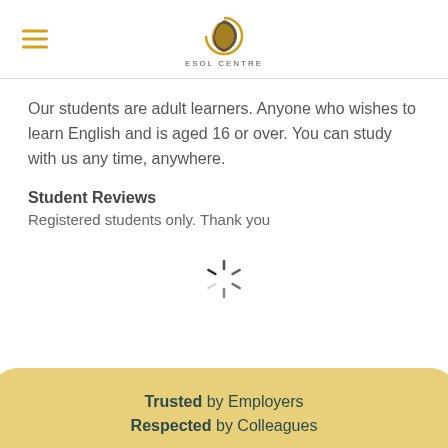ESOL CENTRE
Our students are adult learners. Anyone who wishes to learn English and is aged 16 or over. You can study with us any time, anywhere.
Student Reviews
Registered students only. Thank you
[Figure (other): Loading spinner (circular spinner animation indicator)]
Trusted by Employers
Respected by Colleagues